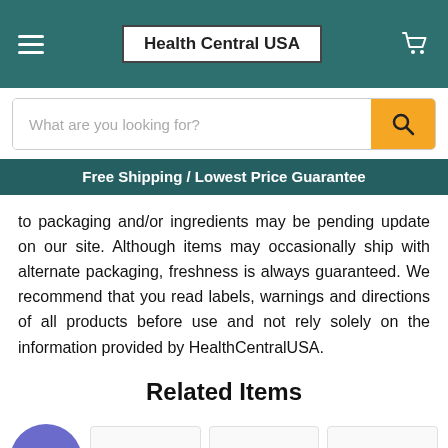Health Central USA
What are you looking for?
Free Shipping / Lowest Price Guarantee
to packaging and/or ingredients may be pending update on our site. Although items may occasionally ship with alternate packaging, freshness is always guaranteed. We recommend that you read labels, warnings and directions of all products before use and not rely solely on the information provided by HealthCentralUSA.
Related Items
[Figure (other): Reward/gift badge icon (purple circle with gift box icon) and three product thumbnail images showing supplement bottle caps at the bottom of the page]